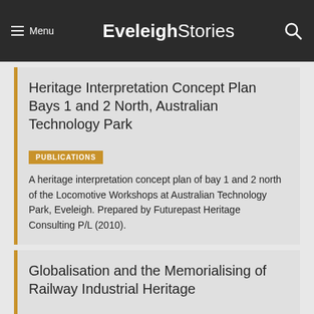Menu | EveleighStories
Heritage Interpretation Concept Plan Bays 1 and 2 North, Australian Technology Park
PUBLICATIONS
A heritage interpretation concept plan of bay 1 and 2 north of the Locomotive Workshops at Australian Technology Park, Eveleigh. Prepared by Futurepast Heritage Consulting P/L (2010).
Globalisation and the Memorialising of Railway Industrial Heritage
PUBLICATIONS